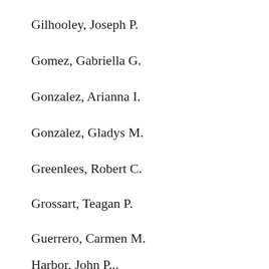Gilhooley, Joseph P.
Gomez, Gabriella G.
Gonzalez, Arianna I.
Gonzalez, Gladys M.
Greenlees, Robert C.
Grossart, Teagan P.
Guerrero, Carmen M.
Harbor, John P...